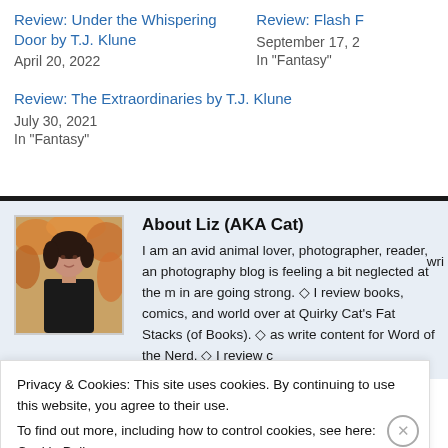Review: Under the Whispering Door by T.J. Klune
April 20, 2022
Review: Flash F
September 17, 2
In "Fantasy"
Review: The Extraordinaries by T.J. Klune
July 30, 2021
In "Fantasy"
About Liz (AKA Cat)
[Figure (photo): Photo of Liz, a woman in dark clothing standing outdoors among autumn-colored foliage]
I am an avid animal lover, photographer, reader, an photography blog is feeling a bit neglected at the m in are going strong. ◇ I review books, comics, and world over at Quirky Cat's Fat Stacks (of Books). ◇ as write content for Word of the Nerd. ◇ I review c
Privacy & Cookies: This site uses cookies. By continuing to use this website, you agree to their use.
To find out more, including how to control cookies, see here: Cookie Policy
Close and accept